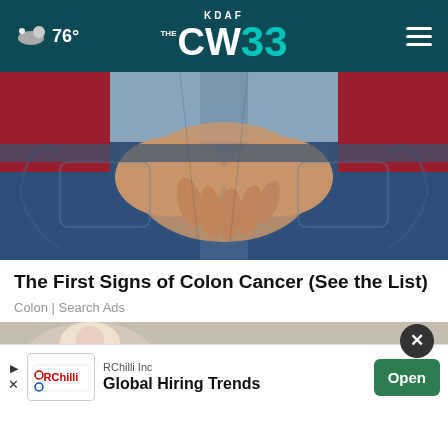KDAF CW33 — 76°
[Figure (photo): Close-up photo of person wearing jeans and red top, hands clasped behind their back over the jeans]
The First Signs of Colon Cancer (See the List)
Colon | Search Ads
[Figure (photo): Partial view of another article image, cropped at bottom of page]
RChilli Inc
Global Hiring Trends
Open